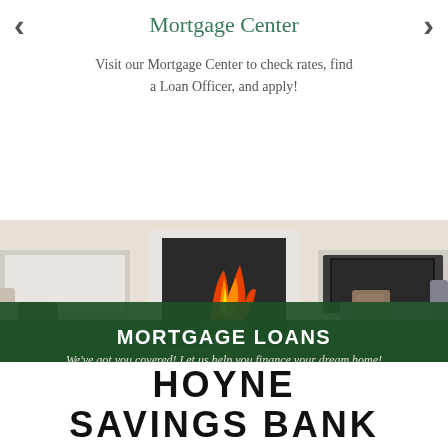Mortgage Center
Visit our Mortgage Center to check rates, find a Loan Officer, and apply!
[Figure (photo): Living room interior with fireplace, white built-in cabinets, cream and gray sofas, decorative gold sphere ornaments on coffee table.]
MORTGAGE LOANS
We've got you covered! Let us help you finance your dream home!
Learn More About Our Mortgages!
HOYNE SAVINGS BANK